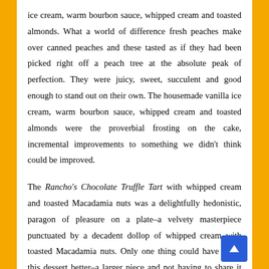ice cream, warm bourbon sauce, whipped cream and toasted almonds. What a world of difference fresh peaches make over canned peaches and these tasted as if they had been picked right off a peach tree at the absolute peak of perfection. They were juicy, sweet, succulent and good enough to stand out on their own. The housemade vanilla ice cream, warm bourbon sauce, whipped cream and toasted almonds were the proverbial frosting on the cake, incremental improvements to something we didn't think could be improved.

The Rancho's Chocolate Truffle Tart with whipped cream and toasted Macadamia nuts was a delightfully hedonistic, paragon of pleasure on a plate–a velvety masterpiece punctuated by a decadent dollop of whipped cream with toasted Macadamia nuts. Only one thing could have made this dessert better–a larger piece and not having to share it (don't tell my wife).